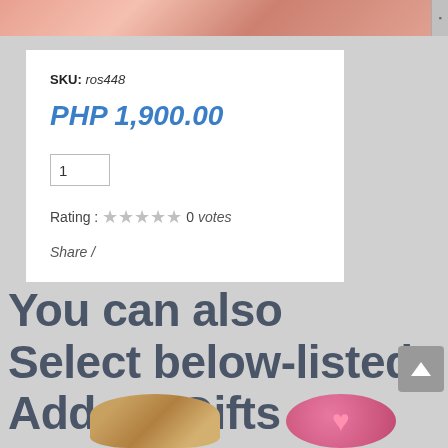[Figure (photo): Top portion of a product photo showing a red/pink item against a light background]
SKU: ros448
PHP 1,900.00
1
Rating : ★★★★★ 0 votes
Share /
You can also Select below-listed Add-on Gifts
[Figure (photo): Thumbnail of a chocolate/candy box product]
[Figure (photo): Thumbnail of a pink heart-shaped product]